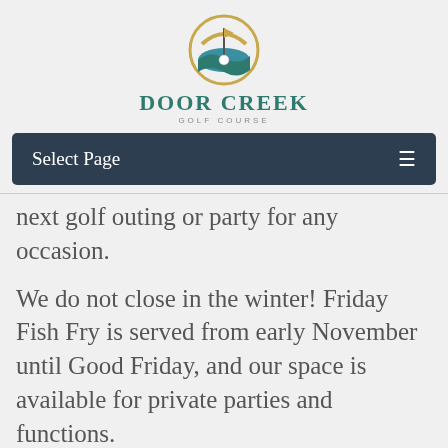[Figure (logo): Door Creek Golf Course logo: circular golf ball and flag icon with blue/green/gold colors, text 'Door Creek' in teal serif bold uppercase, 'Golf Course' in small gray spaced caps below]
Select Page
next golf outing or party for any occasion.
We do not close in the winter! Friday Fish Fry is served from early November until Good Friday, and our space is available for private parties and functions.
Our friendly, experienced, and customer focused staff will ensure that you enjoy your day from beginning to end and we think you'll agree Door Creek Golf Course is a